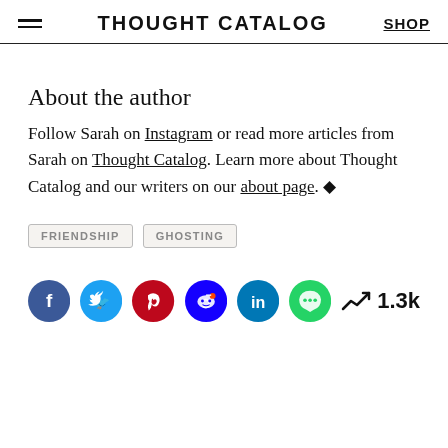THOUGHT CATALOG | SHOP
About the author
Follow Sarah on Instagram or read more articles from Sarah on Thought Catalog. Learn more about Thought Catalog and our writers on our about page. ◆
FRIENDSHIP
GHOSTING
[Figure (infographic): Social sharing icons: Facebook (dark blue), Twitter (light blue), Pinterest (red), Reddit (blue), LinkedIn (teal), Message (green), and trending count 1.3k]